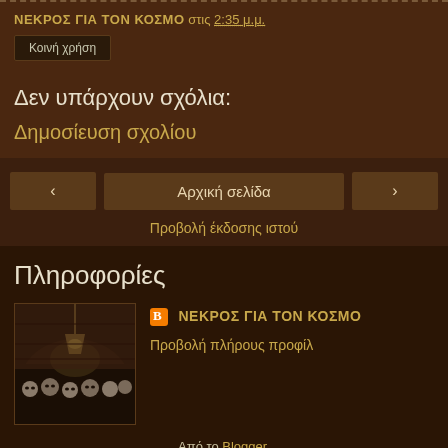ΝΕΚΡΟΣ ΓΙΑ ΤΟΝ ΚΟΣΜΟ στις 2:35 μ.μ.
Κοινή χρήση
Δεν υπάρχουν σχόλια:
Δημοσίευση σχολίου
‹
Αρχική σελίδα
›
Προβολή έκδοσης ιστού
Πληροφορίες
[Figure (photo): Profile photo showing a dark crypt or cave interior with skulls and a hanging lamp]
ΝΕΚΡΟΣ ΓΙΑ ΤΟΝ ΚΟΣΜΟ
Προβολή πλήρους προφίλ
Από το Blogger.